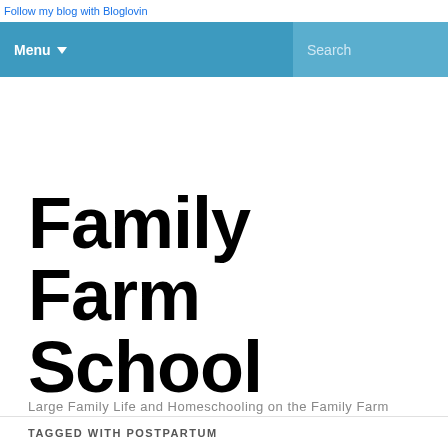Follow my blog with Bloglovin
Menu
Family Farm School
Large Family Life and Homeschooling on the Family Farm
TAGGED WITH POSTPARTUM